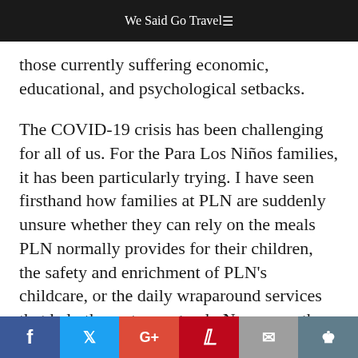We Said Go Travel
those currently suffering economic, educational, and psychological setbacks.
The COVID-19 crisis has been challenging for all of us. For the Para Los Niños families, it has been particularly trying. I have seen firsthand how families at PLN are suddenly unsure whether they can rely on the meals PLN normally provides for their children, the safety and enrichment of PLN's childcare, or the daily wraparound services that help them stay on track. Now more than ever, PLN children and
Social share bar: Facebook, Twitter, Google+, Pinterest, Email, Crown